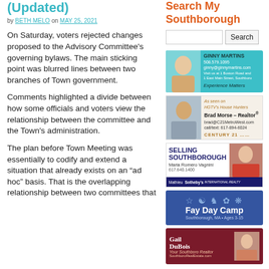(Updated)
by BETH MELO on MAY 25, 2021
On Saturday, voters rejected changes proposed to the Advisory Committee's governing bylaws. The main sticking point was blurred lines between two branches of Town government.
Comments highlighted a divide between how some officials and voters view the relationship between the committee and the Town's administration.
The plan before Town Meeting was essentially to codify and extend a situation that already exists on an “ad hoc” basis. That is the overlapping relationship between two committees that
Search My Southborough
[Figure (other): Ginny Martins real estate advertisement with photo and contact info]
[Figure (other): Brad Morse Realtor advertisement, As seen on HGTV's House Hunters, Century 21]
[Figure (other): Selling Southborough - Maria Romero Vagnini, Mathieu Newton Sotheby's advertisement]
[Figure (other): Fay Day Camp, Southborough MA, Ages 3-15 advertisement]
[Figure (other): Gail DuBois Your Southboro Realtor advertisement]